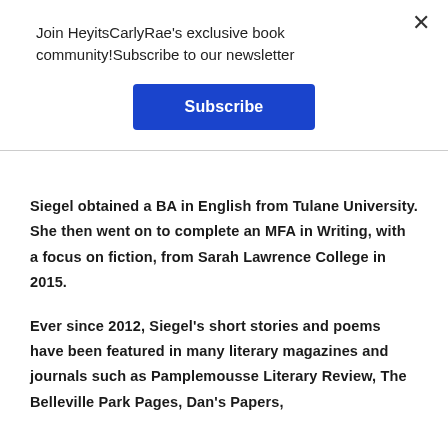Join HeyitsCarlyRae's exclusive book community!Subscribe to our newsletter
Subscribe
Siegel obtained a BA in English from Tulane University. She then went on to complete an MFA in Writing, with a focus on fiction, from Sarah Lawrence College in 2015.
Ever since 2012, Siegel's short stories and poems have been featured in many literary magazines and journals such as Pamplemousse Literary Review, The Belleville Park Pages, Dan's Papers,